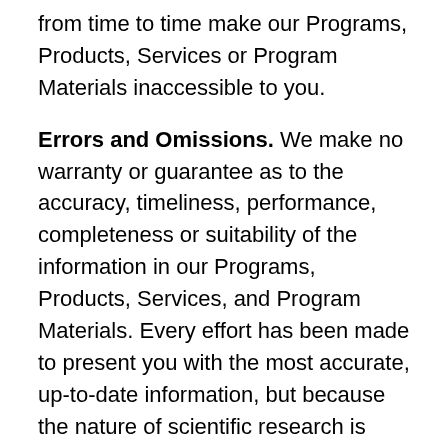from time to time make our Programs, Products, Services or Program Materials inaccessible to you.
Errors and Omissions. We make no warranty or guarantee as to the accuracy, timeliness, performance, completeness or suitability of the information in our Programs, Products, Services, and Program Materials. Every effort has been made to present you with the most accurate, up-to-date information, but because the nature of scientific research is constantly evolving, we cannot be held responsible or accountable for the accuracy of our content. You